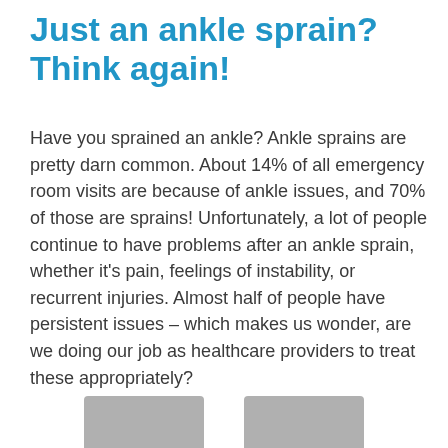Just an ankle sprain? Think again!
Have you sprained an ankle? Ankle sprains are pretty darn common. About 14% of all emergency room visits are because of ankle issues, and 70% of those are sprains! Unfortunately, a lot of people continue to have problems after an ankle sprain, whether it's pain, feelings of instability, or recurrent injuries. Almost half of people have persistent issues – which makes us wonder, are we doing our job as healthcare providers to treat these appropriately?
[Figure (photo): Two partially visible photos of ankles or related medical imagery at the bottom of the page]